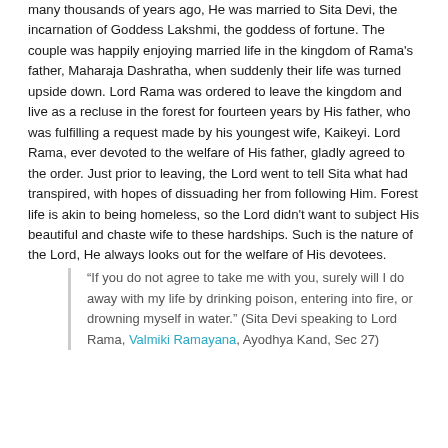many thousands of years ago, He was married to Sita Devi, the incarnation of Goddess Lakshmi, the goddess of fortune. The couple was happily enjoying married life in the kingdom of Rama's father, Maharaja Dashratha, when suddenly their life was turned upside down. Lord Rama was ordered to leave the kingdom and live as a recluse in the forest for fourteen years by His father, who was fulfilling a request made by his youngest wife, Kaikeyi. Lord Rama, ever devoted to the welfare of His father, gladly agreed to the order. Just prior to leaving, the Lord went to tell Sita what had transpired, with hopes of dissuading her from following Him. Forest life is akin to being homeless, so the Lord didn't want to subject His beautiful and chaste wife to these hardships. Such is the nature of the Lord, He always looks out for the welfare of His devotees.
“If you do not agree to take me with you, surely will I do away with my life by drinking poison, entering into fire, or drowning myself in water.” (Sita Devi speaking to Lord Rama, Valmiki Ramayana, Ayodhya Kand, Sec 27)